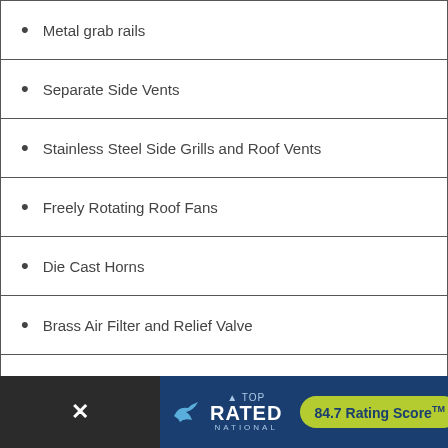Metal grab rails
Separate Side Vents
Stainless Steel Side Grills and Roof Vents
Freely Rotating Roof Fans
Die Cast Horns
Brass Air Filter and Relief Valve
Illuminated N[obscured by overlay]